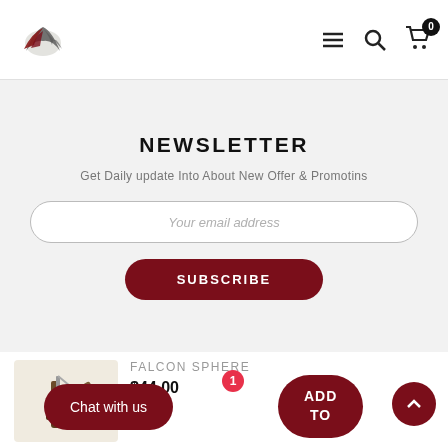[Figure (logo): Falcon sphere logo — stylized bird/falcon silhouette in dark red/grey tones]
NEWSLETTER
Get Daily update Into About New Offer & Promotins
Your email address
SUBSCRIBE
FALCON SPHERE
$44.00
Chat with us
ADD TO